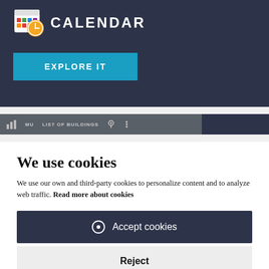[Figure (screenshot): Top section with dark navy background showing a calendar app icon (colorful grid with orange clock overlay) and the text CALENDAR in white bold uppercase letters, plus a teal/blue EXPLORE IT button below.]
[Figure (screenshot): Navigation bar in dark gray with MU logo, LIST OF BUILDINGS text, location icon, and vertical dots menu icon. Right side is darker navy.]
We use cookies
We use our own and third-party cookies to personalize content and to analyze web traffic. Read more about cookies
Accept cookies
Reject